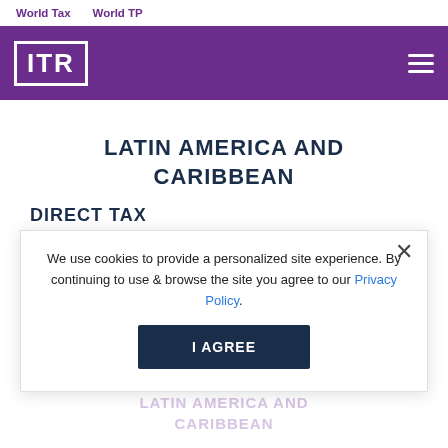World Tax    World TP
[Figure (logo): ITR logo in white on purple background header bar with hamburger menu]
LATIN AMERICA AND CARIBBEAN
DIRECT TAX
NORTH AMERICA
We use cookies to provide a personalized site experience. By continuing to use & browse the site you agree to our Privacy Policy.
I AGREE
JULY / AUGUST 2010
LATIN AMERICA AND CARIBBEAN